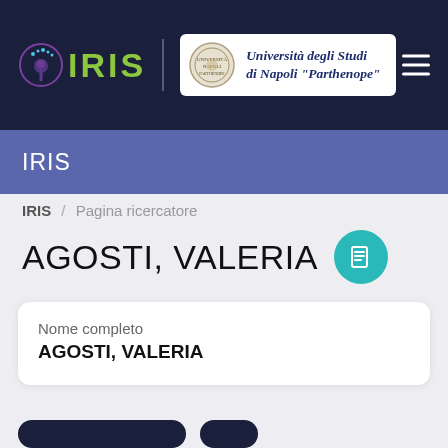[Figure (logo): IRIS logo with eye icon and green text, vertical divider, Università degli Studi di Napoli Parthenope badge with university seal, hamburger menu icon on dark navy background]
IRIS
IRIS / Pagina ricercatore
AGOSTI, VALERIA
| Nome completo |
| --- |
| AGOSTI, VALERIA |